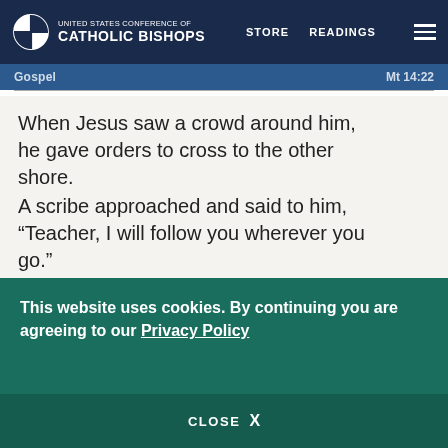UNITED STATES CONFERENCE OF CATHOLIC BISHOPS | STORE | READINGS
Gospel  Mt 14:22
When Jesus saw a crowd around him, he gave orders to cross to the other shore.
A scribe approached and said to him, “Teacher, I will follow you wherever you go.”
Jesus answered him, “Foxes have dens and birds of the sky have nests,
but the Son of Man has nowhere to rest
This website uses cookies. By continuing you are agreeing to our Privacy Policy
CLOSE  X